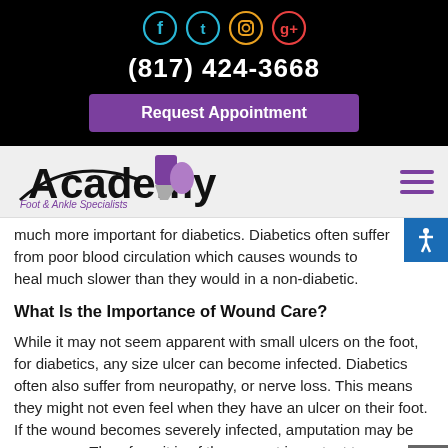[Figure (other): Social media icons: Facebook, Twitter, Instagram, Google+ in colored circles on black background]
(817) 424-3668
Request Appointment
[Figure (logo): Academy Foot & Ankle Specialists logo with purple Texas shape and curved swoosh]
much more important for diabetics. Diabetics often suffer from poor blood circulation which causes wounds to heal much slower than they would in a non-diabetic.
What Is the Importance of Wound Care?
While it may not seem apparent with small ulcers on the foot, for diabetics, any size ulcer can become infected. Diabetics often also suffer from neuropathy, or nerve loss. This means they might not even feel when they have an ulcer on their foot. If the wound becomes severely infected, amputation may be necessary. Therefore, it is of the upmost importan… to properly care for any and all foot wounds.